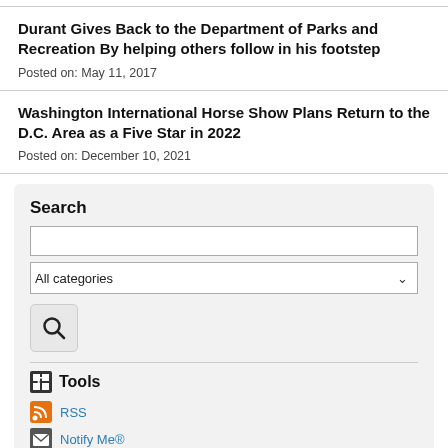Durant Gives Back to the Department of Parks and Recreation By helping others follow in his footstep
Posted on: May 11, 2017
Washington International Horse Show Plans Return to the D.C. Area as a Five Star in 2022
Posted on: December 10, 2021
Search
Tools
RSS
Notify Me®
View Archived